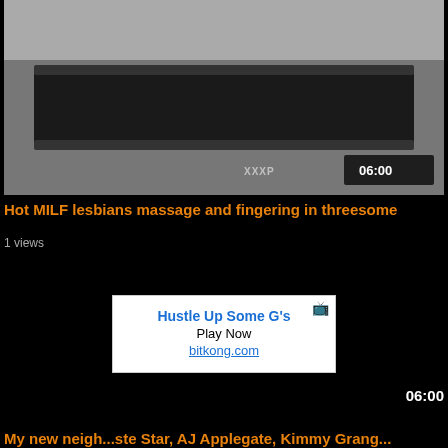[Figure (screenshot): Video thumbnail showing a massage scene with people around a massage table]
Hot MILF lesbians massage and fingering in threesome
1 views
[Figure (screenshot): Advertisement box with text: Hustle Up Some G's, Play Now, bitkong.com]
06:00
My new neigh... ste Star, AJ Applegate, Kimmy Grang...